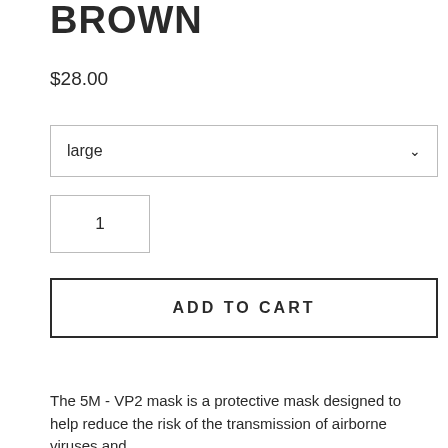BROWN
$28.00
large
1
ADD TO CART
The 5M - VP2 mask is a protective mask designed to help reduce the risk of the transmission of airborne viruses and